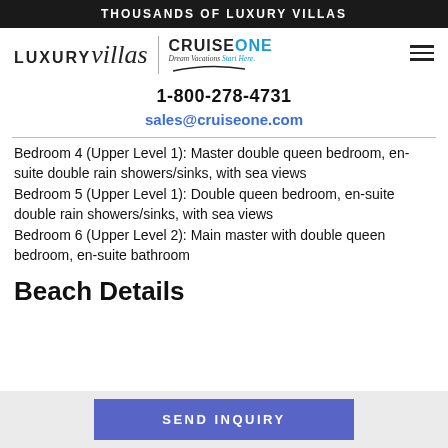THOUSANDS OF LUXURY VILLAS
[Figure (logo): LUXURYvillas logo and CruiseOne Dream Vacations Start Here logo side by side with a vertical divider, plus hamburger menu icon]
1-800-278-4731
sales@cruiseone.com
Bedroom 4 (Upper Level 1): Master double queen bedroom, en-suite double rain showers/sinks, with sea views
Bedroom 5 (Upper Level 1): Double queen bedroom, en-suite double rain showers/sinks, with sea views
Bedroom 6 (Upper Level 2): Main master with double queen bedroom, en-suite bathroom
Beach Details
SEND INQUIRY